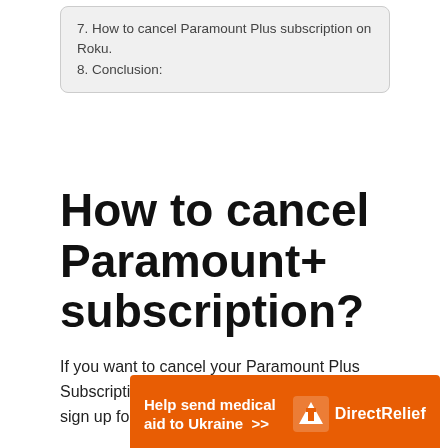7. How to cancel Paramount Plus subscription on Roku.
8. Conclusion:
How to cancel Paramount+ subscription?
If you want to cancel your Paramount Plus Subscription from any device which you used to sign up for its service, which is listed below:
[Figure (infographic): Orange advertisement banner reading 'Help send medical aid to Ukraine >>' with Direct Relief logo on the right]